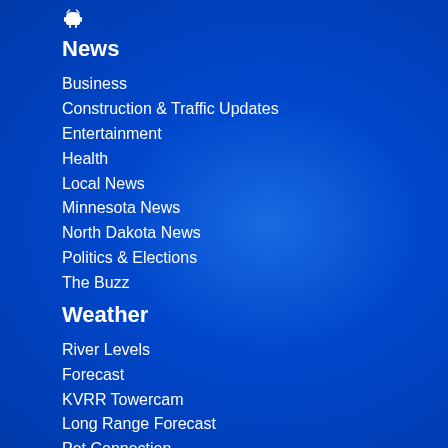[Figure (logo): Android logo icon (white) on blue background]
News
Business
Construction & Traffic Updates
Entertainment
Health
Local News
Minnesota News
North Dakota News
Politics & Elections
The Buzz
Weather
River Levels
Forecast
KVRR Towercam
Long Range Forecast
Pet Connection
River Levels
Severe Weather Alerts
Cancellations
Weather Notes
Station
Advertise With Us
Antenna TV
Contact Us